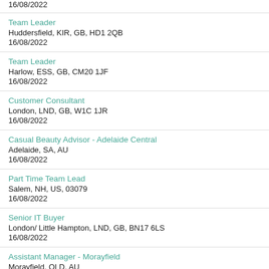16/08/2022
Team Leader
Huddersfield, KIR, GB, HD1 2QB
16/08/2022
Team Leader
Harlow, ESS, GB, CM20 1JF
16/08/2022
Customer Consultant
London, LND, GB, W1C 1JR
16/08/2022
Casual Beauty Advisor - Adelaide Central
Adelaide, SA, AU
16/08/2022
Part Time Team Lead
Salem, NH, US, 03079
16/08/2022
Senior IT Buyer
London/ Little Hampton, LND, GB, BN17 6LS
16/08/2022
Assistant Manager - Morayfield
Morayfield, QLD, AU
16/08/2022